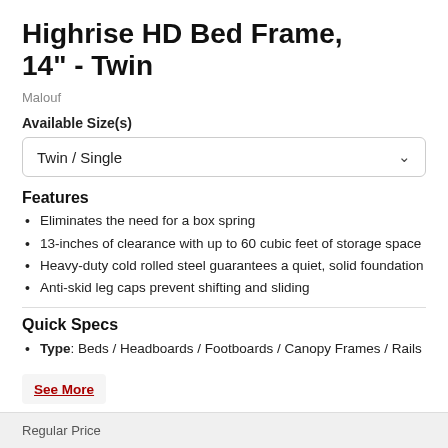Highrise HD Bed Frame, 14" - Twin
Malouf
Available Size(s)
Twin / Single
Features
Eliminates the need for a box spring
13-inches of clearance with up to 60 cubic feet of storage space
Heavy-duty cold rolled steel guarantees a quiet, solid foundation
Anti-skid leg caps prevent shifting and sliding
Quick Specs
Type: Beds / Headboards / Footboards / Canopy Frames / Rails
See More
Regular Price